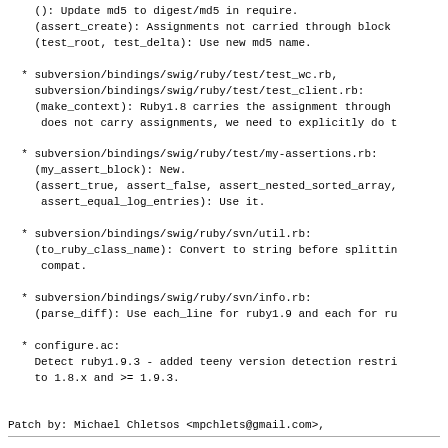(): Update md5 to digest/md5 in require.
(assert_create): Assignments not carried through block
(test_root, test_delta): Use new md5 name.
subversion/bindings/swig/ruby/test/test_wc.rb,
subversion/bindings/swig/ruby/test/test_client.rb:
(make_context): Ruby1.8 carries the assignment through
 does not carry assignments, we need to explicitly do t
subversion/bindings/swig/ruby/test/my-assertions.rb:
(my_assert_block): New.
(assert_true, assert_false, assert_nested_sorted_array,
 assert_equal_log_entries): Use it.
subversion/bindings/swig/ruby/svn/util.rb:
(to_ruby_class_name): Convert to string before splittin
 compat.
subversion/bindings/swig/ruby/svn/info.rb:
(parse_diff): Use each_line for ruby1.9 and each for ru
configure.ac:
Detect ruby1.9.3 - added teeny version detection restri
to 1.8.x and >= 1.9.3.
Patch by: Michael Chletsos <mpchlets@gmail.com>,
        Vincent Batts <vbatts@slackware.com>